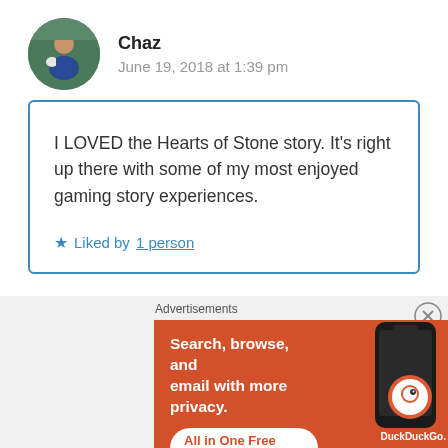Chaz
June 19, 2018 at 1:39 pm
I LOVED the Hearts of Stone story. It's right up there with some of my most enjoyed gaming story experiences.
★ Liked by 1 person
Advertisements
[Figure (screenshot): DuckDuckGo advertisement banner showing 'Search, browse, and email with more privacy. All in One Free App' with a phone mockup and DuckDuckGo logo]